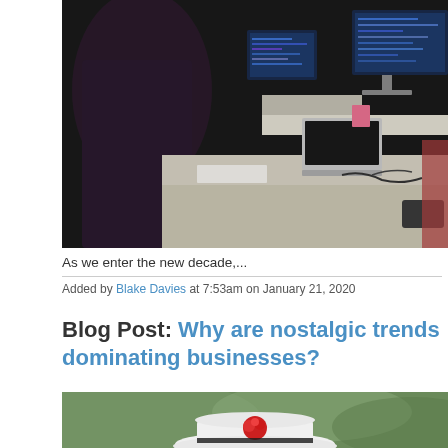[Figure (photo): Office workspace photo showing people working at desks with multiple computer monitors displaying code, laptops, and cables on white desks, blurred background]
As we enter the new decade,...
Added by Blake Davies at 7:53am on January 21, 2020
Blog Post: Why are nostalgic trends dominating businesses?
[Figure (photo): Close-up photo of a white hat with a red rose decoration, outdoors with blurred green background, nostalgic/vintage style]